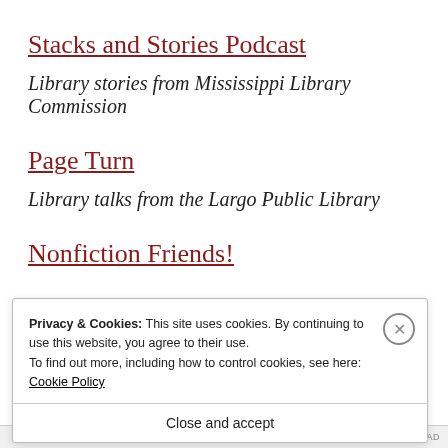Stacks and Stories Podcast
Library stories from Mississippi Library Commission
Page Turn
Library talks from the Largo Public Library
Nonfiction Friends!
Privacy & Cookies: This site uses cookies. By continuing to use this website, you agree to their use. To find out more, including how to control cookies, see here: Cookie Policy
Close and accept